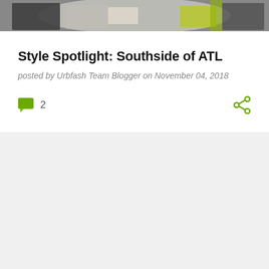[Figure (photo): Partial photo strip at top showing people in colorful urban/streetwear clothing]
Style Spotlight: Southside of ATL
posted by Urbfash Team Blogger on November 04, 2018
2 comments, share button